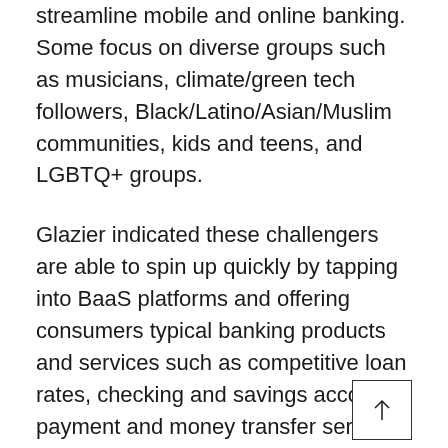streamline mobile and online banking. Some focus on diverse groups such as musicians, climate/green tech followers, Black/Latino/Asian/Muslim communities, kids and teens, and LGBTQ+ groups.
Glazier indicated these challengers are able to spin up quickly by tapping into BaaS platforms and offering consumers typical banking products and services such as competitive loan rates, checking and savings accounts, payment and money transfer services, and financial education tools.
Glazier suggested credit unions and other traditional financial institutions need to start exhibiting the same type